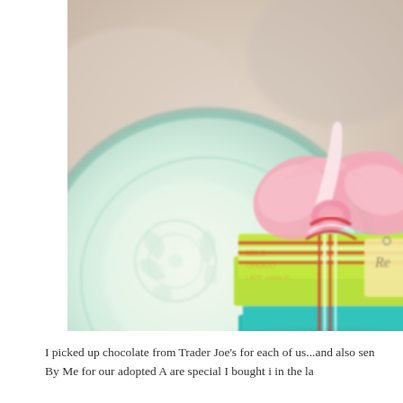[Figure (photo): A close-up photo of a gift-wrapped chocolate box from Trader Joe's sitting on a decorative turquoise and white patterned plate. The box is bright green and teal, wrapped with red and white striped twine and topped with a large pink ribbon bow. The background is softly blurred with pastel tones.]
I picked up chocolate from Trader Joe's for each of us...and also sen By Me for our adopted A are special I bought i in the la